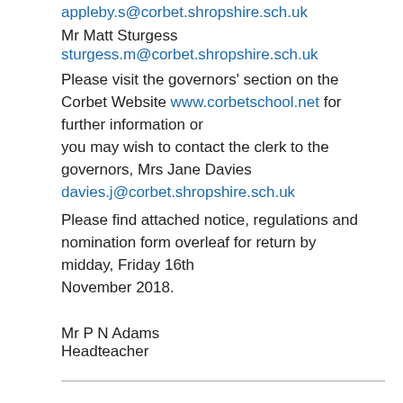appleby.s@corbet.shropshire.sch.uk
Mr Matt Sturgess
sturgess.m@corbet.shropshire.sch.uk
Please visit the governors' section on the Corbet Website www.corbetschool.net for further information or you may wish to contact the clerk to the governors, Mrs Jane Davies davies.j@corbet.shropshire.sch.uk
Please find attached notice, regulations and nomination form overleaf for return by midday, Friday 16th November 2018.
Mr P N Adams
Headteacher